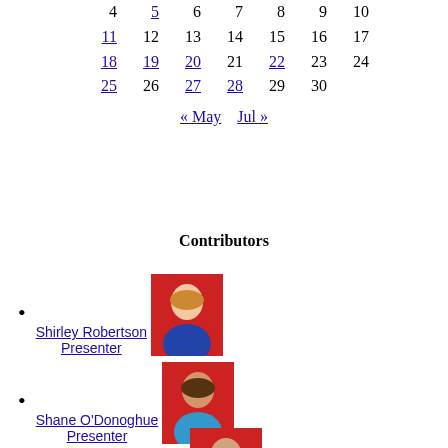| 4 | 5 | 6 | 7 | 8 | 9 | 10 |
| 11 | 12 | 13 | 14 | 15 | 16 | 17 |
| 18 | 19 | 20 | 21 | 22 | 23 | 24 |
| 25 | 26 | 27 | 28 | 29 | 30 |  |
« May   Jul »
Contributors
Shirley Robertson
Presenter
Shane O'Donoghue
Presenter